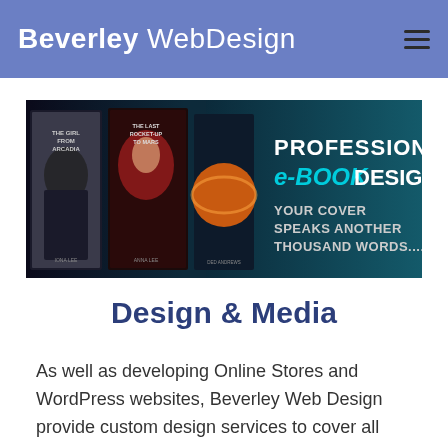Beverley WebDesign
[Figure (illustration): Banner advertisement for Professional e-Book Designs featuring book covers including 'The Girl from Arcadia' and 'The Last Rocket-up to Mars', with text 'PROFESSIONAL e-BOOK DESIGNS YOUR COVER SPEAKS ANOTHER THOUSAND WORDS...' on a dark blue/teal gradient background.]
Design & Media
As well as developing Online Stores and WordPress websites, Beverley Web Design provide custom design services to cover all your other online needs. Whether you require